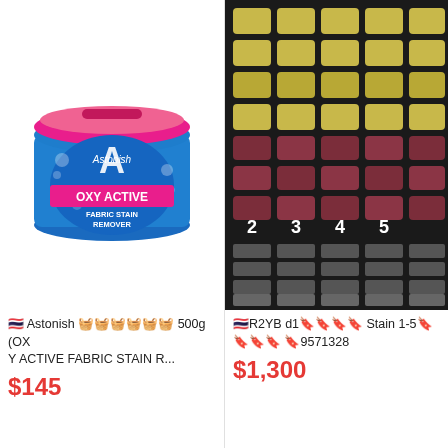[Figure (photo): Astonish Oxy Active Fabric Stain Remover 500g tub with pink lid and blue label]
[Figure (photo): Close-up of product packaging showing numbered columns 2,3,4,5 with yellow and dark red/maroon colored capsules or tablets arranged in a grid]
🇹🇭 Astonish 🟦🟦🟦🟦🟦🟦🟦🟦🟦 500g (OXY ACTIVE FABRIC STAIN R...
$145
🟦🟦🟦R2YB d1🟦🟦🟦🟦🟦 Stain 1-5🟦🟦🟦🟦 🟦9571328
$1,300